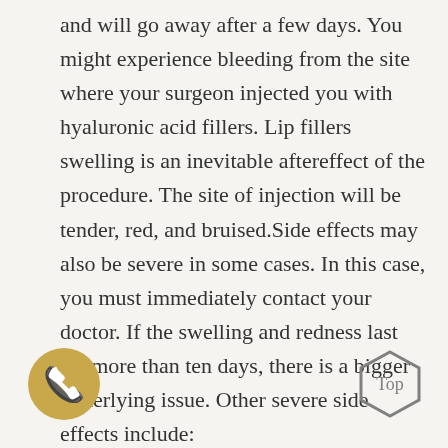and will go away after a few days. You might experience bleeding from the site where your surgeon injected you with hyaluronic acid fillers. Lip fillers swelling is an inevitable aftereffect of the procedure. The site of injection will be tender, red, and bruised.Side effects may also be severe in some cases. In this case, you must immediately contact your doctor. If the swelling and redness last for more than ten days, there is a bigger underlying issue. Other severe side effects include:
[Figure (illustration): Gold/tan circular icon with a white telephone handset symbol]
[Figure (illustration): Grey hexagon shape with the word 'Top' inside, acting as a back-to-top navigation button]